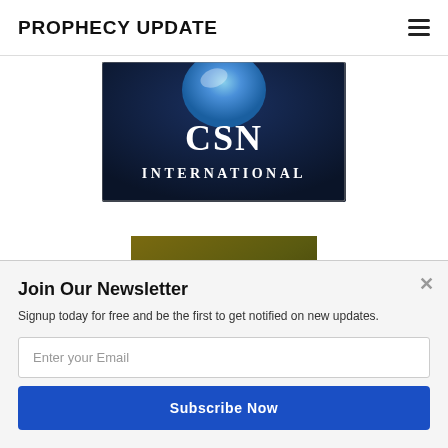PROPHECY UPDATE
[Figure (logo): CSN International logo — blue globe above white letters 'CSN INTERNATIONAL' on dark background]
[Figure (logo): to Every Man logo on olive/brown background, with 'POWERED BY SUMO' banner overlay]
Join Our Newsletter
Signup today for free and be the first to get notified on new updates.
Enter your Email
Subscribe Now